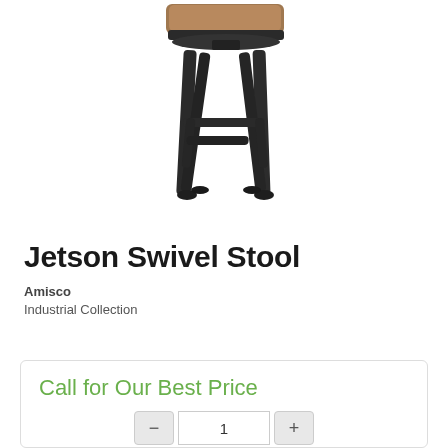[Figure (photo): Product photo of a Jetson Swivel Stool — a bar stool with dark metal legs, a footrest ring, and a padded brown/tan seat cushion, viewed at a slight angle on a white background.]
Jetson Swivel Stool
Amisco
Industrial Collection
Call for Our Best Price